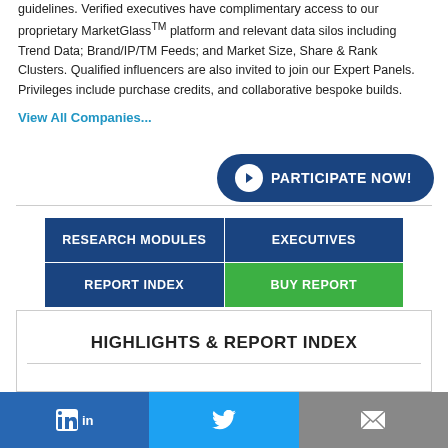guidelines. Verified executives have complimentary access to our proprietary MarketGlass™ platform and relevant data silos including Trend Data; Brand/IP/TM Feeds; and Market Size, Share & Rank Clusters. Qualified influencers are also invited to join our Expert Panels. Privileges include purchase credits, and collaborative bespoke builds.
View All Companies...
[Figure (other): PARTICIPATE NOW! button with arrow circle icon, dark blue rounded rectangle button]
[Figure (other): Navigation grid with four buttons: RESEARCH MODULES, EXECUTIVES (dark blue), REPORT INDEX (dark blue), BUY REPORT (green)]
HIGHLIGHTS & REPORT INDEX
in  [Twitter bird]  [envelope]